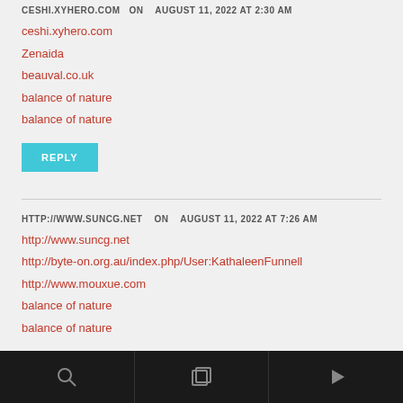CESHI.XYHERO.COM ON AUGUST 11, 2022 AT 2:30 AM
ceshi.xyhero.com
Zenaida
beauval.co.uk
balance of nature
balance of nature
REPLY
HTTP://WWW.SUNCG.NET ON AUGUST 11, 2022 AT 7:26 AM
http://www.suncg.net
http://byte-on.org.au/index.php/User:KathaleenFunnell
http://www.mouxue.com
balance of nature
balance of nature
REPLY